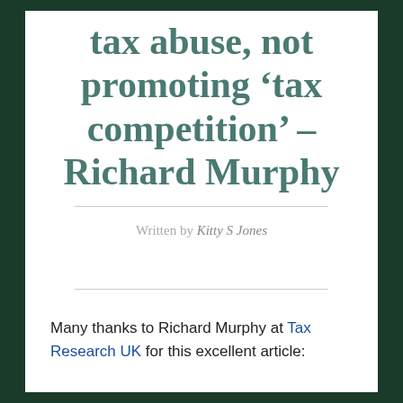tax abuse, not promoting 'tax competition' – Richard Murphy
Written by Kitty S Jones
Many thanks to Richard Murphy at Tax Research UK for this excellent article:
The Guardian has reported that: